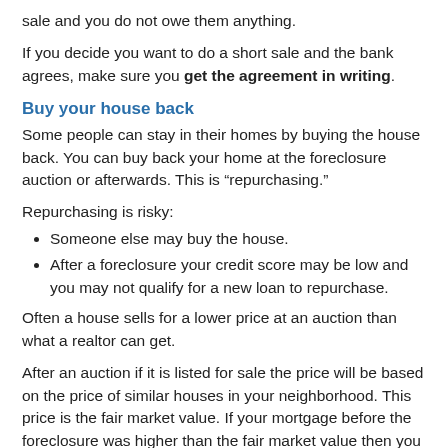The buyer gets the house. The bank agrees to accept the sale and you do not owe them anything.
If you decide you want to do a short sale and the bank agrees, make sure you get the agreement in writing.
Buy your house back
Some people can stay in their homes by buying the house back. You can buy back your home at the foreclosure auction or afterwards. This is “repurchasing.”
Repurchasing is risky:
Someone else may buy the house.
After a foreclosure your credit score may be low and you may not qualify for a new loan to repurchase.
Often a house sells for a lower price at an auction than what a realtor can get.
After an auction if it is listed for sale the price will be based on the price of similar houses in your neighborhood. This price is the fair market value. If your mortgage before the foreclosure was higher than the fair market value then you can save money if you can buy the house back.
If you cannot buy the home directly from the bank there are non-profits that may be able to help. Most banks do not like